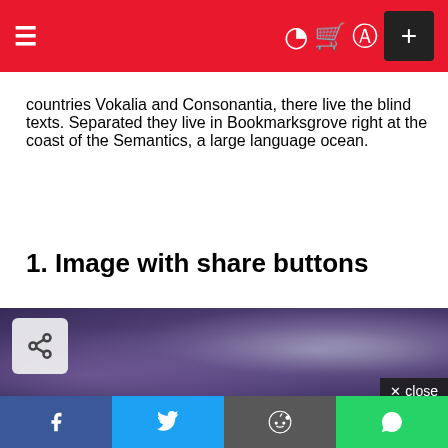Navigation bar with hamburger menu, dark mode, cart, user icons, and a + button
countries Vokalia and Consonantia, there live the blind texts. Separated they live in Bookmarksgrove right at the coast of the Semantics, a large language ocean.
1. Image with share buttons
[Figure (photo): Purple gradient blurred image with a share button icon overlay in the top-left and a close button in the bottom-right]
Social share bar with Facebook, Twitter, Reddit, and WhatsApp buttons